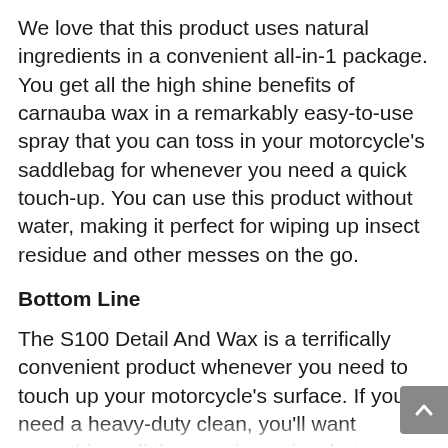We love that this product uses natural ingredients in a convenient all-in-1 package. You get all the high shine benefits of carnauba wax in a remarkably easy-to-use spray that you can toss in your motorcycle's saddlebag for whenever you need a quick touch-up. You can use this product without water, making it perfect for wiping up insect residue and other messes on the go.
Bottom Line
The S100 Detail And Wax is a terrifically convenient product whenever you need to touch up your motorcycle's surface. If you need a heavy-duty clean, you'll want something a little more intensive, but